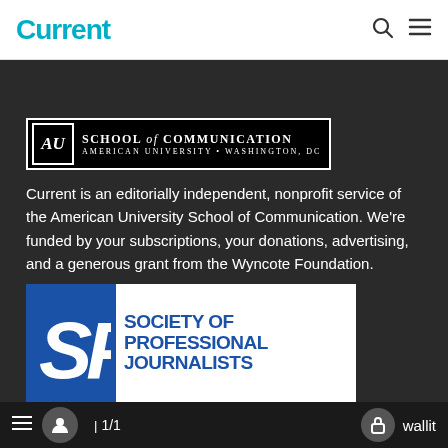Current
[Figure (logo): American University School of Communication logo — AU emblem with text 'School of Communication, American University • Washington, DC' on black background]
Current is an editorially independent, nonprofit service of the American University School of Communication. We're funded by your subscriptions, your donations, advertising, and a generous grant from the Wyncote Foundation.
[Figure (logo): Society of Professional Journalists (SPJ) logo — blue background with white 'SP' italic letters on left, and 'SOCIETY OF PROFESSIONAL JOURNALISTS' text on white panel on right]
≡  👤  1/1  🔒 wallit